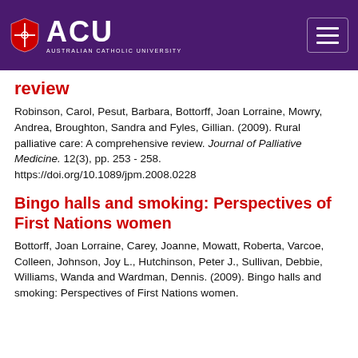ACU - Australian Catholic University
review
Robinson, Carol, Pesut, Barbara, Bottorff, Joan Lorraine, Mowry, Andrea, Broughton, Sandra and Fyles, Gillian. (2009). Rural palliative care: A comprehensive review. Journal of Palliative Medicine. 12(3), pp. 253 - 258. https://doi.org/10.1089/jpm.2008.0228
Bingo halls and smoking: Perspectives of First Nations women
Bottorff, Joan Lorraine, Carey, Joanne, Mowatt, Roberta, Varcoe, Colleen, Johnson, Joy L., Hutchinson, Peter J., Sullivan, Debbie, Williams, Wanda and Wardman, Dennis. (2009). Bingo halls and smoking: Perspectives of First Nations women.